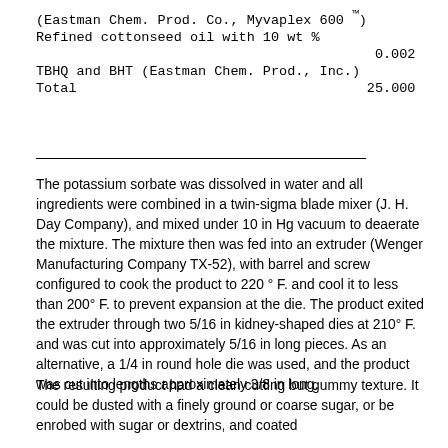| (Eastman Chem. Prod. Co., Myvaplex 600 ™) |  |
| Refined cottonseed oil with 10 wt % |  |
|  | 0.002 |
| TBHQ and BHT (Eastman Chem. Prod., Inc.) |  |
| Total | 25.000 |
The potassium sorbate was dissolved in water and all ingredients were combined in a twin-sigma blade mixer (J. H. Day Company), and mixed under 10 in Hg vacuum to deaerate the mixture. The mixture then was fed into an extruder (Wenger Manufacturing Company TX-52), with barrel and screw configured to cook the product to 220 ° F. and cool it to less than 200° F. to prevent expansion at the die. The product exited the extruder through two 5/16 in kidney-shaped dies at 210° F. and was cut into approximately 5/16 in long pieces. As an alternative, a 1/4 in round hole die was used, and the product was cut into lengths approximately 3/8 in long.
The resulting product had a clean cutting but gummy texture. It could be dusted with a finely ground or coarse sugar, or be enrobed with sugar or dextrins, and coated